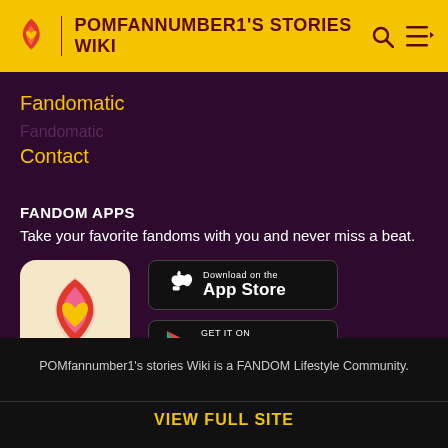POMFANNUMBER1'S STORIES WIKI
Fandomatic
Contact
FANDOM APPS
Take your favorite fandoms with you and never miss a beat.
[Figure (logo): Fandom app icon: pink/red flame with gold heart on cream background]
[Figure (screenshot): Download on the App Store button]
[Figure (screenshot): GET IT ON Google Play button]
POMfannumber1's stories Wiki is a FANDOM Lifestyle Community.
VIEW FULL SITE